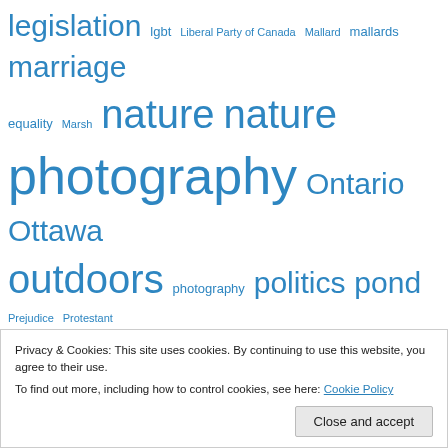[Figure (infographic): Tag cloud with blue words of varying sizes: legislation, lgbt, Liberal Party of Canada, Mallard, mallards, marriage equality, Marsh, nature (large x2), photography (large), Ontario, Ottawa, outdoors (large), photography, politics, pond, Prejudice, Protestant, queens university, religion (very large), religion and state, religious liberty, Rideau River (very large), Rifle, Roman Catholic, roman catholic church, Roman Catholicism, same sex attraction, same]
Privacy & Cookies: This site uses cookies. By continuing to use this website, you agree to their use.
To find out more, including how to control cookies, see here: Cookie Policy